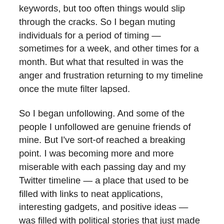keywords, but too often things would slip through the cracks. So I began muting individuals for a period of timing — sometimes for a week, and other times for a month. But what that resulted in was the anger and frustration returning to my timeline once the mute filter lapsed.
So I began unfollowing. And some of the people I unfollowed are genuine friends of mine. But I've sort-of reached a breaking point. I was becoming more and more miserable with each passing day and my Twitter timeline — a place that used to be filled with links to neat applications, interesting gadgets, and positive ideas — was filled with political stories that just made me unhappy.
I don't want to lose those friendships, though, I simply want to take a break from their ability to inject those day wrecking tweets into my life. So for every